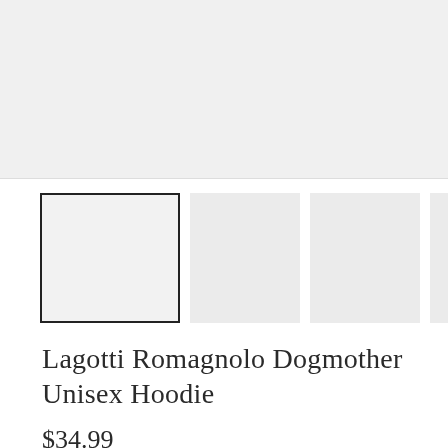[Figure (photo): Main product image area - large light gray placeholder rectangle]
[Figure (photo): Four thumbnail image placeholders in a row; first one selected with dark border, others gray]
Lagotti Romagnolo Dogmother Unisex Hoodie
$34.99
COLOR
SIZE
Black
S